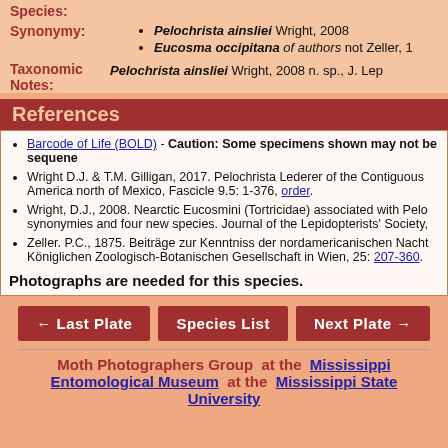Species:
Synonymy: • Pelochrista ainsliei Wright, 2008 • Eucosma occipitana of authors not Zeller, 1...
Taxonomic Notes: Pelochrista ainsliei Wright, 2008 n. sp., J. Lep...
References
Barcode of Life (BOLD) - Caution: Some specimens shown may not be sequene...
Wright D.J. & T.M. Gilligan, 2017. Pelochrista Lederer of the Contiguous America north of Mexico, Fascicle 9.5: 1-376, order.
Wright, D.J., 2008. Nearctic Eucosmini (Tortricidae) associated with Pelo... synonymies and four new species. Journal of the Lepidopterists' Society,...
Zeller. P.C., 1875. Beiträge zur Kenntniss der nordamericanischen Nacht... Königlichen Zoologisch-Botanischen Gesellschaft in Wien, 25: 207-360.
Photographs are needed for this species.
← Last Plate   Species List   Next Plate →
Moth Photographers Group at the Mississippi Entomological Museum at the Mississippi State University